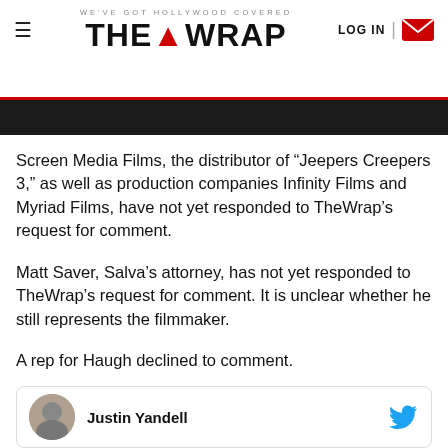WE'VE GOT HOLLYWOOD COVERED — THE WRAP — LOG IN
Screen Media Films, the distributor of “Jeepers Creepers 3,” as well as production companies Infinity Films and Myriad Films, have not yet responded to TheWrap’s request for comment.
Matt Saver, Salva’s attorney, has not yet responded to TheWrap’s request for comment. It is unclear whether he still represents the filmmaker.
A rep for Haugh declined to comment.
See other reactions to the movie below.
Justin Yandell